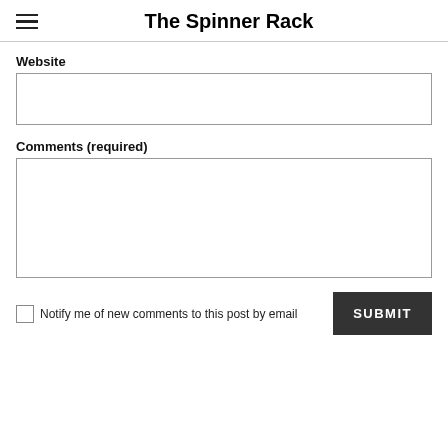The Spinner Rack
Website
Comments (required)
Notify me of new comments to this post by email
SUBMIT